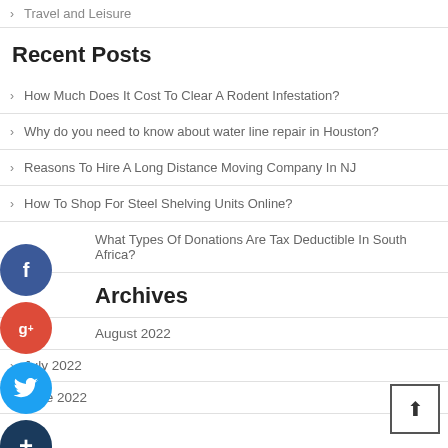Travel and Leisure
Recent Posts
How Much Does It Cost To Clear A Rodent Infestation?
Why do you need to know about water line repair in Houston?
Reasons To Hire A Long Distance Moving Company In NJ
How To Shop For Steel Shelving Units Online?
What Types Of Donations Are Tax Deductible In South Africa?
Archives
August 2022
July 2022
June 2022